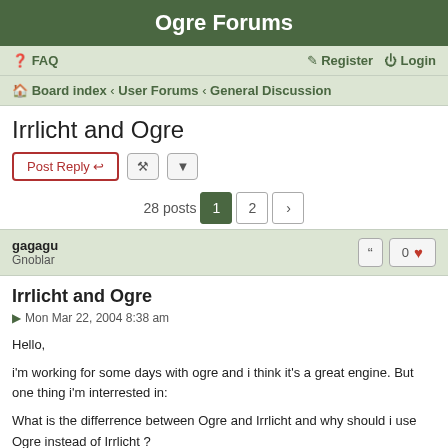Ogre Forums
FAQ   Register   Login
Board index › User Forums › General Discussion
Irrlicht and Ogre
Post Reply  [tool buttons]  28 posts  1  2  >
gagagu
Gnoblar
Irrlicht and Ogre
Mon Mar 22, 2004 8:38 am
Hello,

i'm working for some days with ogre and i think it's a great engine. But one thing i'm interrested in:

What is the differrence between Ogre and Irrlicht and why should i use Ogre instead of Irrlicht ?